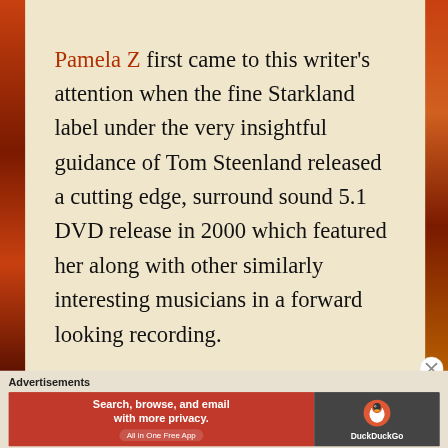Pamela Z first came to this writer's attention when the fine Starkland label under the very insightful guidance of Tom Steenland released a cutting edge, surround sound 5.1 DVD release in 2000 which featured her along with other similarly interesting musicians in a forward looking recording.
[Figure (photo): Album cover for Pamela Z 'A Delay Is Better' showing horizontal lines in upper portion and abstract diagonal orange/red lines in lower portion]
The first CD
Advertisements
[Figure (screenshot): DuckDuckGo advertisement banner: 'Search, browse, and email with more privacy. All in One Free App' with DuckDuckGo logo on right]